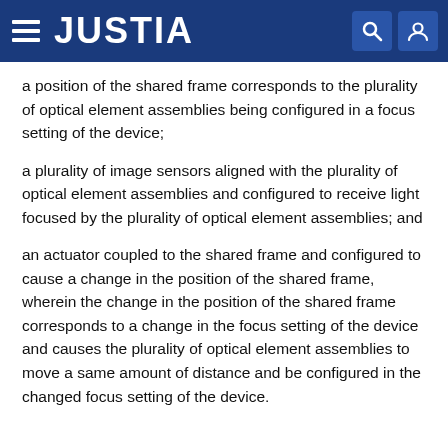JUSTIA
a position of the shared frame corresponds to the plurality of optical element assemblies being configured in a focus setting of the device;
a plurality of image sensors aligned with the plurality of optical element assemblies and configured to receive light focused by the plurality of optical element assemblies; and
an actuator coupled to the shared frame and configured to cause a change in the position of the shared frame, wherein the change in the position of the shared frame corresponds to a change in the focus setting of the device and causes the plurality of optical element assemblies to move a same amount of distance and be configured in the changed focus setting of the device.